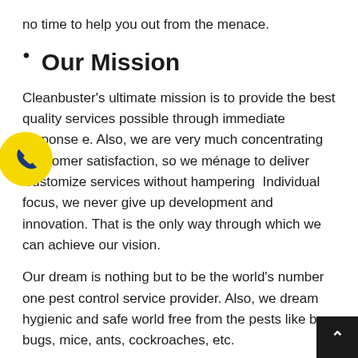no time to help you out from the menace.
Our Mission
Cleanbuster's ultimate mission is to provide the best quality services possible through immediate response e. Also, we are very much concentrating on stomer satisfaction, so we ménage to deliver Customize services without hampering Individual focus, we never give up development and innovation. That is the only way through which we can achieve our vision.
Our dream is nothing but to be the world's number one pest control service provider. Also, we dream hygienic and safe world free from the pests like b bugs, mice, ants, cockroaches, etc.